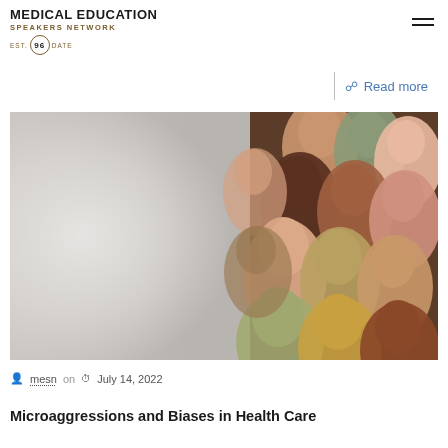MEDICAL EDUCATION SPEAKERS NETWORK EST. 96 GATE
Read more
[Figure (photo): Collage of paper human head silhouettes in various skin tones arranged in a group, representing diversity in healthcare]
mesn on July 14, 2022
Microaggressions and Biases in Health Care